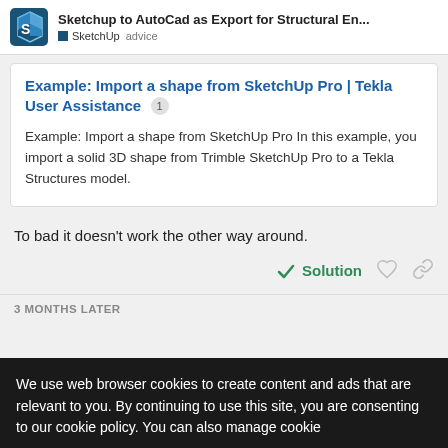Sketchup to AutoCad as Export for Structural En... | SketchUp advice
[Figure (logo): SketchUp logo - blue cube with S shape]
Example: Import a shape from SketchUp Pro | Tekla User Assistance
Example: Import a shape from SketchUp Pro In this example, you import a solid 3D shape from Trimble SketchUp Pro to a Tekla Structures model.
To bad it doesn't work the other way around.
Solution
3 MONTHS LATER
We use web browser cookies to create content and ads that are relevant to you. By continuing to use this site, you are consenting to our cookie policy. You can also manage cookie